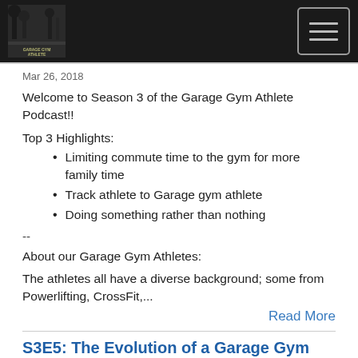[Figure (logo): Garage Gym Athlete logo with dark background photo and text label at bottom]
Mar 26, 2018
Welcome to Season 3 of the Garage Gym Athlete Podcast!!
Top 3 Highlights:
Limiting commute time to the gym for more family time
Track athlete to Garage gym athlete
Doing something rather than nothing
--
About our Garage Gym Athletes:
The athletes all have a diverse background; some from Powerlifting, CrossFit,...
Read More
S3E5: The Evolution of a Garage Gym Athlete with...